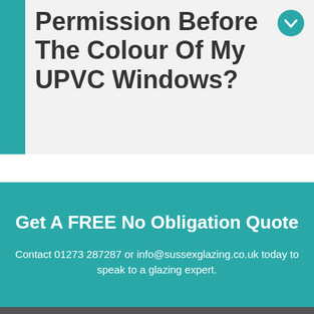Permission Before The Colour Of My UPVC Windows?
Get A FREE No Obligation Quote
Contact 01273 287287 or info@sussexglazing.co.uk today to speak to a glazing expert.